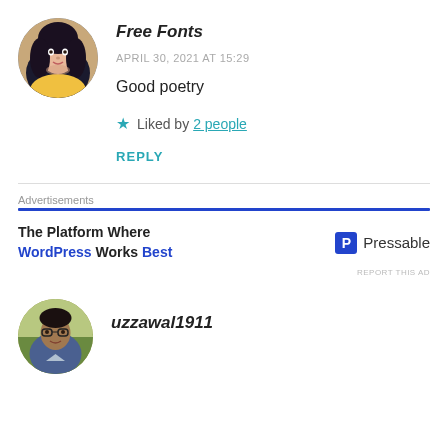[Figure (photo): Circular avatar of a young woman with long dark hair, wearing yellow top, against dark background]
Free Fonts
APRIL 30, 2021 AT 15:29
Good poetry
★ Liked by 2 people
REPLY
Advertisements
[Figure (infographic): Pressable advertisement: The Platform Where WordPress Works Best]
REPORT THIS AD
[Figure (photo): Circular avatar of a man wearing glasses, outdoors background]
uzzawal1911